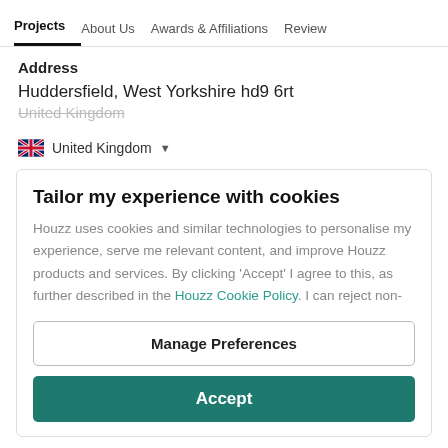Projects | About Us | Awards & Affiliations | Reviews
Address
Huddersfield, West Yorkshire hd9 6rt
United Kingdom
🇬🇧 United Kingdom ▾
Tailor my experience with cookies
Houzz uses cookies and similar technologies to personalise my experience, serve me relevant content, and improve Houzz products and services. By clicking 'Accept' I agree to this, as further described in the Houzz Cookie Policy. I can reject non-
Manage Preferences
Accept